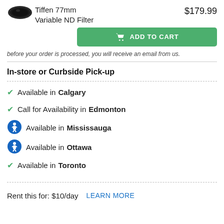[Figure (photo): Product image of Tiffen 77mm Variable ND Filter - dark circular lens filter]
Tiffen 77mm Variable ND Filter
$179.99
ADD TO CART
before your order is processed, you will receive an email from us.
In-store or Curbside Pick-up
Available in Calgary
Call for Availability in Edmonton
Available in Mississauga
Available in Ottawa
Available in Toronto
Rent this for: $10/day   LEARN MORE